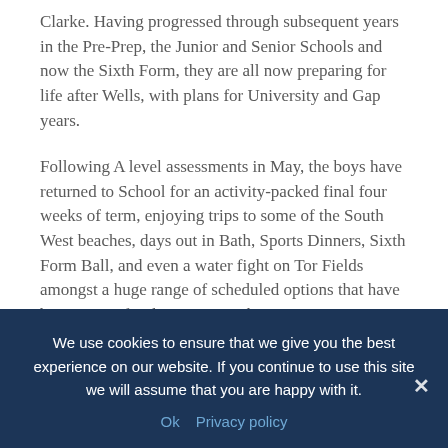Clarke. Having progressed through subsequent years in the Pre-Prep, the Junior and Senior Schools and now the Sixth Form, they are all now preparing for life after Wells, with plans for University and Gap years.
Following A level assessments in May, the boys have returned to School for an activity-packed final four weeks of term, enjoying trips to some of the South West beaches, days out in Bath, Sports Dinners, Sixth Form Ball, and even a water fight on Tor Fields amongst a huge range of scheduled options that have been put on for the Upper Sixth.
The boys were joined outside the Nursery playground by other Upper Sixth leavers, Oscar Duddy, Lottie Gordon and William
We use cookies to ensure that we give you the best experience on our website. If you continue to use this site we will assume that you are happy with it.
Ok   Privacy policy